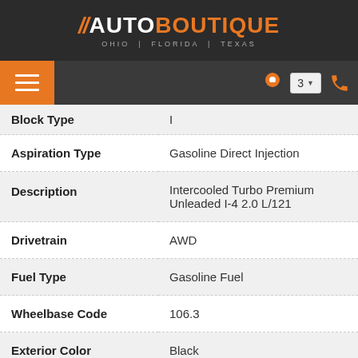//AUTOBOUTIQUE OHIO | FLORIDA | TEXAS
| Field | Value |
| --- | --- |
| Block Type | I |
| Aspiration Type | Gasoline Direct Injection |
| Description | Intercooled Turbo Premium Unleaded I-4 2.0 L/121 |
| Drivetrain | AWD |
| Fuel Type | Gasoline Fuel |
| Wheelbase Code | 106.3 |
| Exterior Color | Black |
| EPA City | 24 |